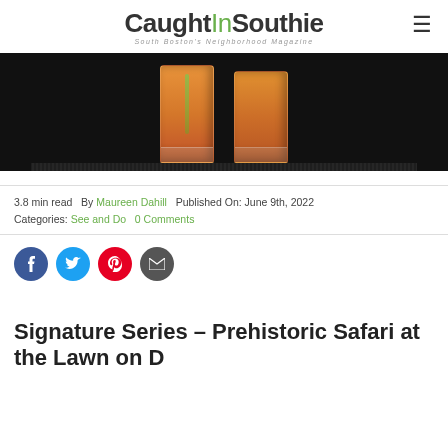CaughtInSouthie — South Boston's Neighborhood Magazine
[Figure (photo): Two orange/amber cocktail drinks in ridged glasses sitting on a dark bar mat, photographed from above at an angle]
3.8 min read   By Maureen Dahill   Published On: June 9th, 2022
Categories: See and Do   0 Comments
[Figure (infographic): Social sharing buttons: Facebook (blue), Twitter (light blue), Pinterest (red), Email (dark gray)]
Signature Series – Prehistoric Safari at the Lawn on D